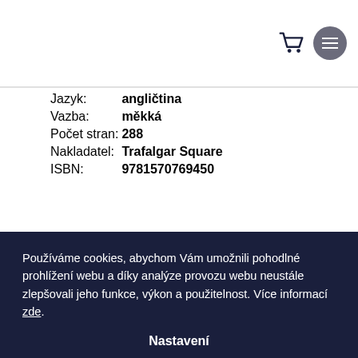| Jazyk: | angličtina |
| Vazba: | měkká |
| Počet stran: | 288 |
| Nakladatel: | Trafalgar Square |
| ISBN: | 9781570769450 |
Používáme cookies, abychom Vám umožnili pohodlné prohlížení webu a díky analýze provozu webu neustále zlepšovali jeho funkce, výkon a použitelnost. Více informací zde.
Nastavení
Souhlasim